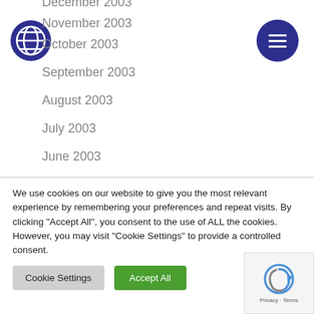[Figure (logo): Blue circular logo with globe/snowflake pattern]
[Figure (other): Dark blue circular hamburger menu button with three white horizontal lines]
December 2003
November 2003
October 2003
September 2003
August 2003
July 2003
June 2003
April 2003
February 2003
We use cookies on our website to give you the most relevant experience by remembering your preferences and repeat visits. By clicking "Accept All", you consent to the use of ALL the cookies. However, you may visit "Cookie Settings" to provide a controlled consent.
Cookie Settings | Accept All